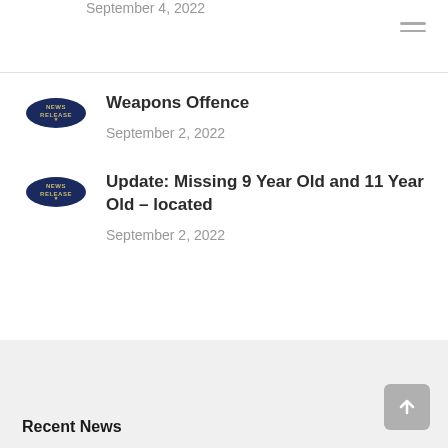[Figure (other): Hamburger menu icon (three horizontal lines) in top right corner]
September 4, 2022
Weapons Offence
September 2, 2022
Update: Missing 9 Year Old and 11 Year Old – located
September 2, 2022
Recent News